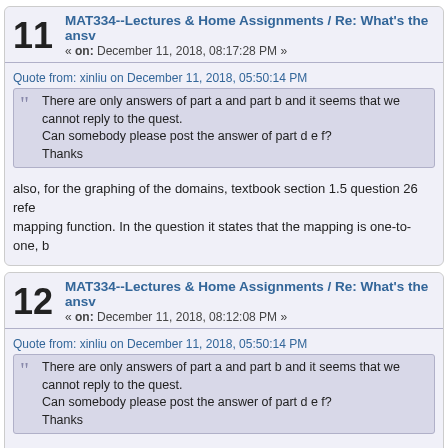11  MAT334--Lectures & Home Assignments / Re: What's the answ
« on: December 11, 2018, 08:17:28 PM »
Quote from: xinliu on December 11, 2018, 05:50:14 PM
There are only answers of part a and part b and it seems that we cannot reply to the quest.
Can somebody please post the answer of part d e f?
Thanks
also, for the graphing of the domains, textbook section 1.5 question 26 refe
mapping function. In the question it states that the mapping is one-to-one, b
12  MAT334--Lectures & Home Assignments / Re: What's the answ
« on: December 11, 2018, 08:12:08 PM »
Quote from: xinliu on December 11, 2018, 05:50:14 PM
There are only answers of part a and part b and it seems that we cannot reply to the quest.
Can somebody please post the answer of part d e f?
Thanks
same, I am stuck at proving the function to be 1 to 1.
Pages: [1]